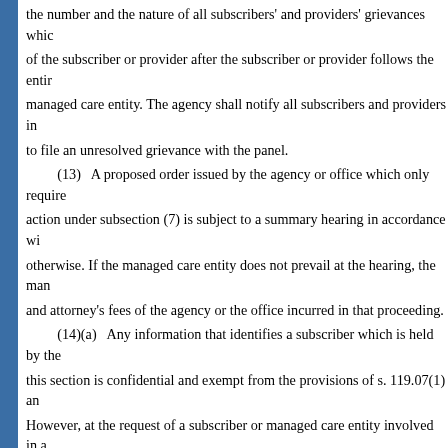the number and the nature of all subscribers' and providers' grievances which of the subscriber or provider after the subscriber or provider follows the enti managed care entity. The agency shall notify all subscribers and providers in to file an unresolved grievance with the panel.
(13) A proposed order issued by the agency or office which only require action under subsection (7) is subject to a summary hearing in accordance wi otherwise. If the managed care entity does not prevail at the hearing, the man and attorney's fees of the agency or the office incurred in that proceeding.
(14)(a) Any information that identifies a subscriber which is held by the this section is confidential and exempt from the provisions of s. 119.07(1) an However, at the request of a subscriber or managed care entity involved in a department shall release information identifying the subscriber involved in th subscriber or managed care entity.
(b) Meetings of the panel shall be open to the public unless the provider heard requests a closed meeting or the agency or the department determines t subscriber's medical treatment or history or information relating to internal r 641.55(5)(c), (6), and (8) may be revealed at the panel meeting, in which cas a subscriber's medical treatment or history or internal risk management prog exempt from the provisions of s. 286.011 and s. 24(b), Art. I of the State Con recorded by a certified court reporter.
(15) This section applies only to prepaid health clinics certified under ch health plan health insurance policies or health maintenance contracts that me